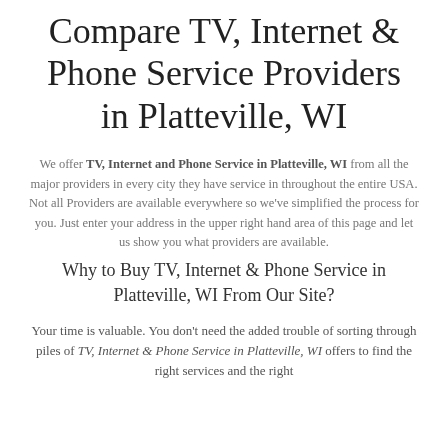Compare TV, Internet & Phone Service Providers in Platteville, WI
We offer TV, Internet and Phone Service in Platteville, WI from all the major providers in every city they have service in throughout the entire USA. Not all Providers are available everywhere so we've simplified the process for you. Just enter your address in the upper right hand area of this page and let us show you what providers are available.
Why to Buy TV, Internet & Phone Service in Platteville, WI From Our Site?
Your time is valuable. You don't need the added trouble of sorting through piles of TV, Internet & Phone Service in Platteville, WI offers to find the right services and the right